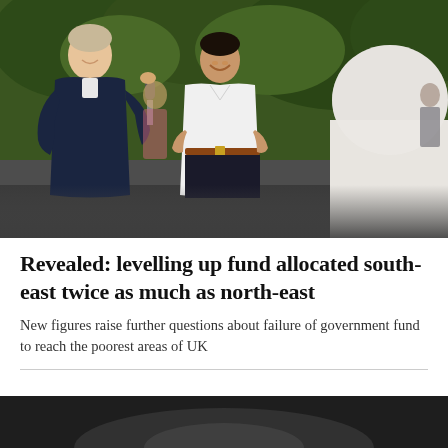[Figure (photo): Outdoor scene showing three people: a tall man in a dark suit holding a microphone on the left, Rishi Sunak in the centre wearing a white shirt with hands on hips and smiling, and the back of a person in a white shirt on the right. Background shows green trees and other people in soft focus.]
Revealed: levelling up fund allocated south-east twice as much as north-east
New figures raise further questions about failure of government fund to reach the poorest areas of UK
[Figure (photo): Partial second photo visible at bottom of page, dark image, content unclear.]